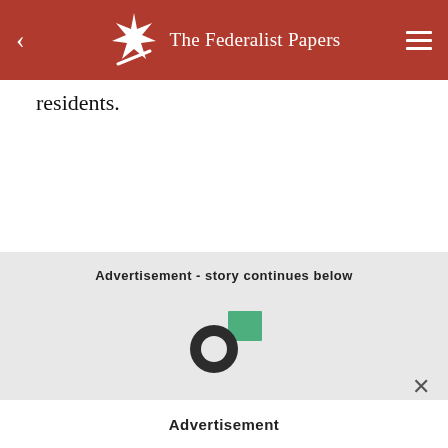The Federalist Papers
residents.
Advertisement - story continues below
[Figure (logo): Speakol logo: a dark circle/donut shape on the left and a green square on the upper right]
Advertisement